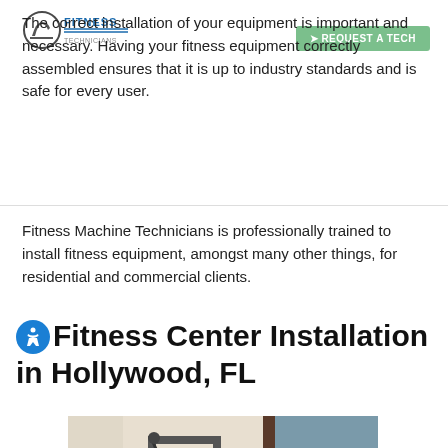FITNESS TECHNICIANS | REQUEST A TECH
The correct installation of your equipment is important and necessary. Having your fitness equipment correctly assembled ensures that it is up to industry standards and is safe for every user.
Fitness Machine Technicians is professionally trained to install fitness equipment, amongst many other things, for residential and commercial clients.
Fitness Center Installation in Hollywood, FL
[Figure (photo): Interior photo of a fitness center showing gym equipment including a cable machine, weight stacks, and a large mirror in a room with beige walls]